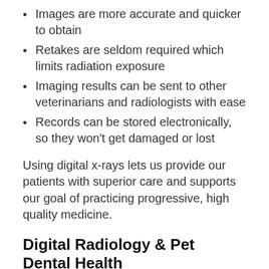Images are more accurate and quicker to obtain
Retakes are seldom required which limits radiation exposure
Imaging results can be sent to other veterinarians and radiologists with ease
Records can be stored electronically, so they won't get damaged or lost
Using digital x-rays lets us provide our patients with superior care and supports our goal of practicing progressive, high quality medicine.
Digital Radiology & Pet Dental Health
When pets have their teeth cleaned, we always conduct a comprehensive oral health assessment and provide our clients with